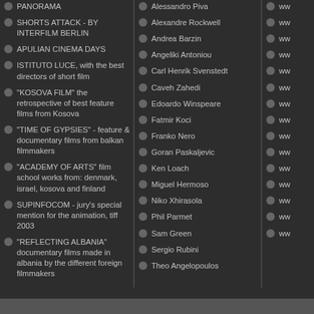PANORAMA
SHORTS ATTACK - BY INTERFILM BERLIN
APULIAN CINEMA DAYS
ISTITUTO LUCE, with the best directors of short film
"KOSOVA FILM" the retrospective of best feature films from Kosova
"TIME OF GYPSIES" - feature & documentary films from balkan filmmakers
"ACADEMY OF ARTS" film school works from: denmark, israel, kosova and finland
SUPINFOCOM - jury’s special mention for the animation, tiff 2003
"REFLECTING ALBANIA" documentary films made in albania by the different foreign filmmakers
Alessandro Piva
Alexandre Rockwell
Andrea Barzin
Angeliki Antoniou
Carl Henrik Svenstedt
Caveh Zahedi
Edoardo Winspeare
Fatmir Koci
Franko Nero
Goran  Paskaljevic
Ken Loach
Miguel Hermoso
Niko Xhirasola
Phil Parmet
Sam Green
Sergio Rubini
Theo Angelopoulos
www.
www.
www.
www.
www.
www.
www.
www.
www.
www.
www.
www.
www.
www.
www.